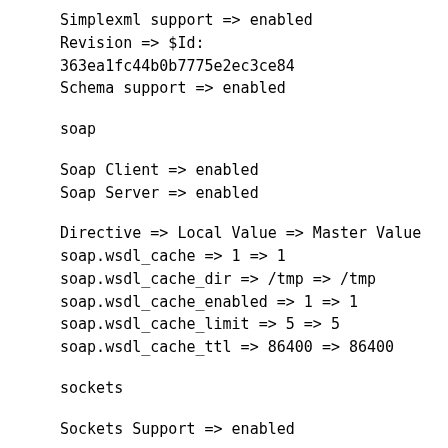Simplexml support => enabled
Revision => $Id: 363ea1fc44b0b7775e2ec3ce84
Schema support => enabled
soap
Soap Client => enabled
Soap Server => enabled
Directive => Local Value => Master Value
soap.wsdl_cache => 1 => 1
soap.wsdl_cache_dir => /tmp => /tmp
soap.wsdl_cache_enabled => 1 => 1
soap.wsdl_cache_limit => 5 => 5
soap.wsdl_cache_ttl => 86400 => 86400
sockets
Sockets Support => enabled